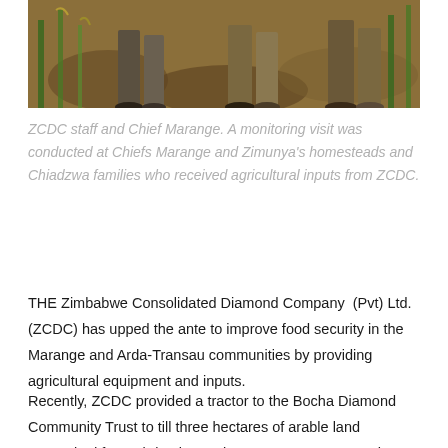[Figure (photo): Partial photograph showing lower bodies of people standing in a field with green maize/corn plants and reddish-brown soil]
ZCDC staff and Chief Marange.  A monitoring visit was conducted at Chiefs Marange and Zimunya's homesteads and Chiadzwa families who received agricultural inputs from ZCDC.
THE Zimbabwe Consolidated Diamond Company  (Pvt) Ltd. (ZCDC) has upped the ante to improve food security in the Marange and Arda-Transau communities by providing agricultural equipment and inputs.
Recently, ZCDC provided a tractor to the Bocha Diamond Community Trust to till three hectares of arable land earmarked for an irrigation project meant to empower the